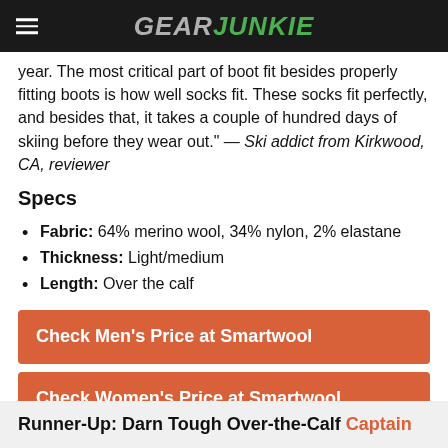GEAR JUNKIE
year. The most critical part of boot fit besides properly fitting boots is how well socks fit. These socks fit perfectly, and besides that, it takes a couple of hundred days of skiing before they wear out." — Ski addict from Kirkwood, CA, reviewer
Specs
Fabric: 64% merino wool, 34% nylon, 2% elastane
Thickness: Light/medium
Length: Over the calf
Check Men's Price at Smartwool
Check Women's Price at Smartwool
Runner-Up: Darn Tough Over-the-Calf Captain